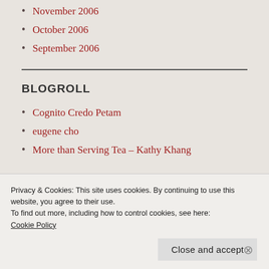November 2006
October 2006
September 2006
BLOGROLL
Cognito Credo Petam
eugene cho
More than Serving Tea – Kathy Khang
Privacy & Cookies: This site uses cookies. By continuing to use this website, you agree to their use.
To find out more, including how to control cookies, see here:
Cookie Policy
Close and accept